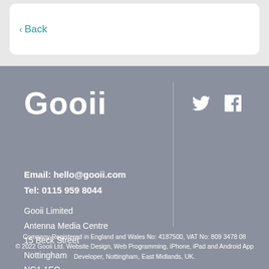< Back
[Figure (logo): Gooii logo in white bold text on grey background]
[Figure (other): Twitter and Facebook social media icons in white]
Email: hello@gooii.com
Tel: 0115 959 8044
Gooii Limited
Antenna Media Centre
15 Beck Street
Nottingham
NG1 1EQ
Company Registered in England and Wales No: 4187500, VAT No: 809 3478 08
© 2022 Gooii Ltd. Website Design, Web Programming, iPhone, iPad and Android App Developer, Nottingham, East Midlands, UK.